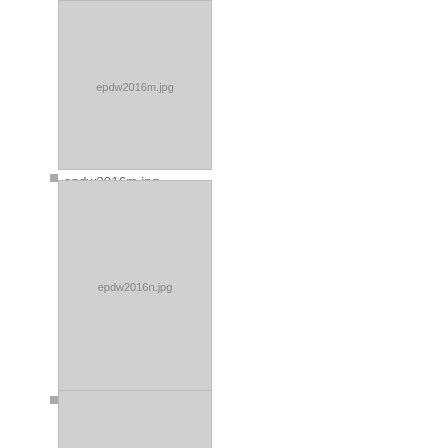epdw2016m.jpg
3672×4896
2016/07/12 19:36
747.9 KB
epdw2016n.jpg
2088×2880
2016/07/12 19:36
742.9 KB
epdw2016p.jpg
1648×2358